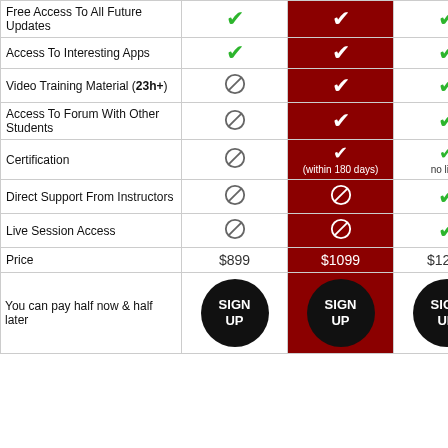| Feature | Col1 | Col2 (red) | Col3 |
| --- | --- | --- | --- |
| Free Access To All Future Updates | ✓ | ✓ | ✓ |
| Access To Interesting Apps | ✓ | ✓ | ✓ |
| Video Training Material (23h+) | ✗ | ✓ | ✓ |
| Access To Forum With Other Students | ✗ | ✓ | ✓ |
| Certification | ✗ | ✓ (within 180 days) | no limit |
| Direct Support From Instructors | ✗ | ✗ | ✓ |
| Live Session Access | ✗ | ✗ | ✓ |
| Price | $899 | $1099 | $1299 |
| You can pay half now & half later | SIGN UP | SIGN UP | SIGN UP |